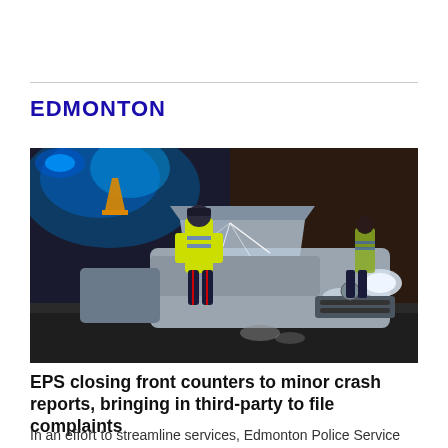EDMONTON
[Figure (photo): Night-time photo of police officers in yellow high-visibility vests inspecting a silver Honda Civic with cracked windshield at a crash scene. One officer leans over the hood of the car, another stands in the background. Emergency lights visible.]
EPS closing front counters to minor crash reports, bringing in third-party to file complaints
In an effort to streamline services, Edmonton Police Service will no longer have drivers report minor crashes at stations or